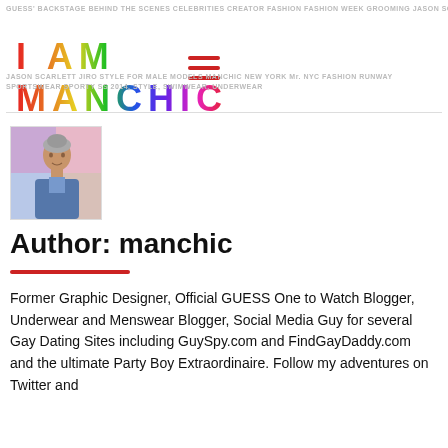GUESS BACKSTAGE BEHIND THE SCENES CELEBRITIES CREATOR FASHION FASHION WEEK GROOMING JASON SCARLETT JIRO STYLE FOR MALE MODELS MANCHIC NEW YORK Mr. NYC FASHION RUNWAY SPORTSWEAR SPORTY SS 2014 STYLE SWIMWEAR UNDERWEAR
I AM MANCHIC
[Figure (photo): Hamburger/menu icon in red]
[Figure (photo): Author profile photo of manchic - man with short hair wearing denim jacket against colorful background]
Author: manchic
Former Graphic Designer, Official GUESS One to Watch Blogger, Underwear and Menswear Blogger, Social Media Guy for several Gay Dating Sites including GuySpy.com and FindGayDaddy.com and the ultimate Party Boy Extraordinaire. Follow my adventures on Twitter and